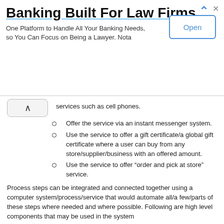[Figure (other): Advertisement banner: 'Banking Built For Law Firms' with subtitle 'One Platform to Handle All Your Banking Needs, so You Can Focus on Being a Lawyer. Nota' and an 'Open' button]
services such as cell phones.
Offer the service via an instant messenger system.
Use the service to offer a gift certificate/a global gift certificate where a user can buy from any store/supplier/business with an offered amount.
Use the service to offer “order and pick at store” service.
Process steps can be integrated and connected together using a computer system/process/service that would automate all/a few/parts of these steps where needed and where possible. Following are high level components that may be used in the system
Database servers to store profiles and system transactions.
Application servers to run the system services.
Application architectures and platforms.
Security systems
Network infrastructure & Internet access.
The system for the process of the first embodiment can operate as the following.